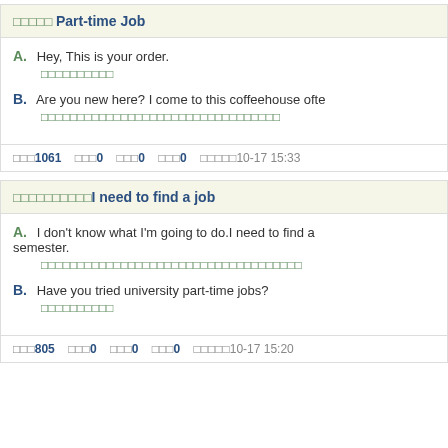□□□□□ Part-time Job
A. Hey, This is your order.
□□□□□□□□□□
B. Are you new here? I come to this coffeehouse ofte
□□□□□□□□□□□□□□□□□□□□□□□□□□□□□□□□□
□□□1061  □□□0  □□□0  □□□0  □□□□□10-17 15:33
□□□□□□□□□□I need to find a job
A. I don't know what I'm going to do.I need to find a semester.
□□□□□□□□□□□□□□□□□□□□□□□□□□□□□□□□□□□□
B. Have you tried university part-time jobs?
□□□□□□□□□□
□□□805  □□□0  □□□0  □□□0  □□□□□10-17 15:20